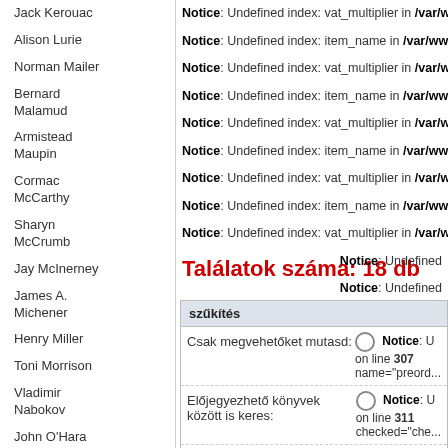Jack Kerouac
Alison Lurie
Norman Mailer
Bernard Malamud
Armistead Maupin
Cormac McCarthy
Sharyn McCrumb
Jay McInerney
James A. Michener
Henry Miller
Toni Morrison
Vladimir Nabokov
John O'Hara
Joyce Carol Oates
Chuck Palahniuk
Ann Patchett
Notice: Undefined index: vat_multiplier in /var/www/b...
Notice: Undefined index: item_name in /var/www/boo...
Notice: Undefined index: vat_multiplier in /var/www/b...
Notice: Undefined index: item_name in /var/www/boo...
Notice: Undefined index: vat_multiplier in /var/www/b...
Notice: Undefined index: item_name in /var/www/boo...
Notice: Undefined index: vat_multiplier in /var/www/b...
Notice: Undefined index: item_name in /var/www/boo...
Notice: Undefined index: vat_multiplier in /var/www/b...
Találatok száma: 18 db
|  |  |
| --- | --- |
| Csak megvehetőket mutasd: | Notice: U... on line 307 name="preord... |
| Előjegyezhető könyvek között is keres: | Notice: U... on line 311 checked="che... |
| Csak előjegyezhetőket mutasd: | Notice: U... on line 315 name="preord... |